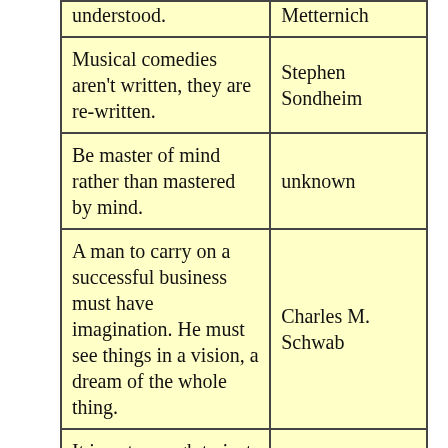| Quote | Author |
| --- | --- |
| understood. | Metternich |
| Musical comedies aren't written, they are re-written. | Stephen Sondheim |
| Be master of mind rather than mastered by mind. | unknown |
| A man to carry on a successful business must have imagination. He must see things in a vision, a dream of the whole thing. | Charles M. Schwab |
| It is not enough to just do your best or work hard. You must know what to [do] | W Edwards Deming |